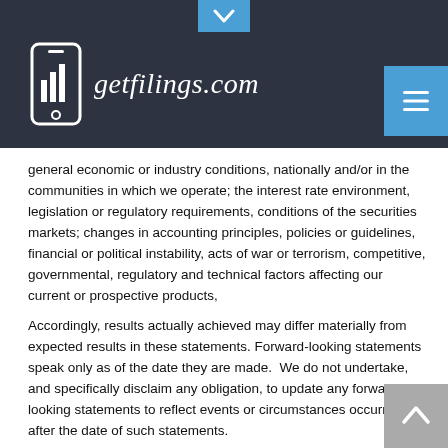getfilings.com
general economic or industry conditions, nationally and/or in the communities in which we operate; the interest rate environment, legislation or regulatory requirements, conditions of the securities markets; changes in accounting principles, policies or guidelines, financial or political instability, acts of war or terrorism, competitive, governmental, regulatory and technical factors affecting our current or prospective products,
Accordingly, results actually achieved may differ materially from expected results in these statements. Forward-looking statements speak only as of the date they are made.  We do not undertake, and specifically disclaim any obligation, to update any forward-looking statements to reflect events or circumstances occurring after the date of such statements.
Overview
On June 21, 2013, the Company completed the acquisition of certain assets from and commenced business operations. Since completing the acquisition, the Company has engaged consultants and advisors, conducted extensive sales and marketing relate